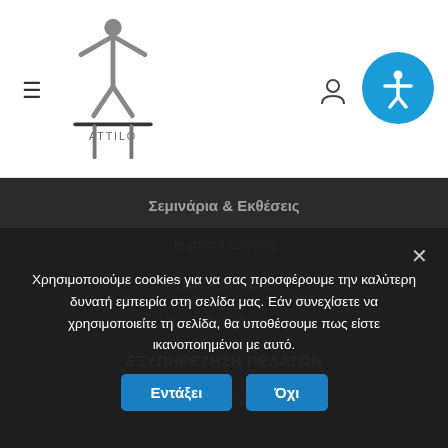[Figure (logo): ATTILO brand logo with stylized human figure and horizontal bar, in grey tones]
Σεμινάρια & Εκθέσεις
Η συσκευασία
Εταιρικό δώρο
Νέα – Εκδηλώσεις
ΕΞΥΠΗΡΕΤΗΣΗ ΠΕΛΑΤΩΝ
Τρόποι πληρωμής
Χρησιμοποιούμε cookies για να σας προσφέρουμε την καλύτερη δυνατή εμπειρία στη σελίδα μας. Εάν συνεχίσετε να χρησιμοποιείτε τη σελίδα, θα υποθέσουμε πως είστε ικανοποιημένοι με αυτό.
Εντάξει
Όχι